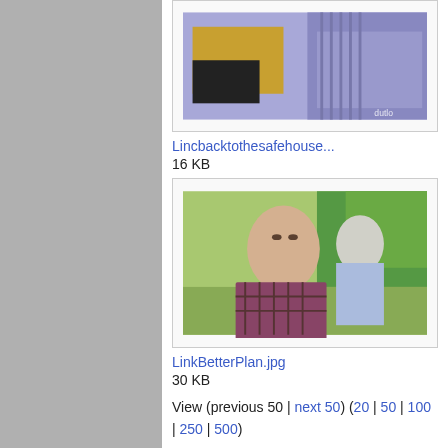[Figure (photo): Video thumbnail showing a person in striped shirt from behind, with a yellow/dark inset image on left side. Purple/blue toned.]
Lincbacktothesafehouse...
16 KB
[Figure (photo): Photo of two men outdoors, one in plaid shirt facing camera, another in light blue shirt behind him, trees in background.]
LinkBetterPlan.jpg
30 KB
View (previous 50 | next 50) (20 | 50 | 100 | 250 | 500)